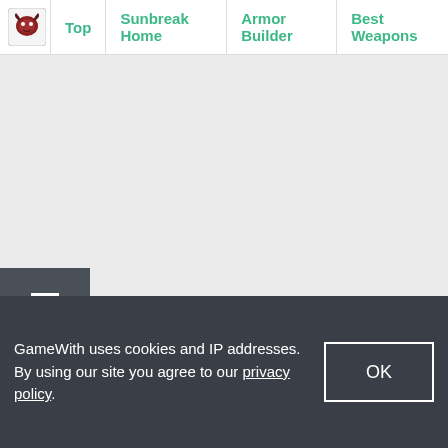Top | Sunbreak Home | Armor Builder | Best Weapons
[Figure (screenshot): Large blank gray content area placeholder]
Menu
GameWith uses cookies and IP addresses. By using our site you agree to our privacy policy.
OK